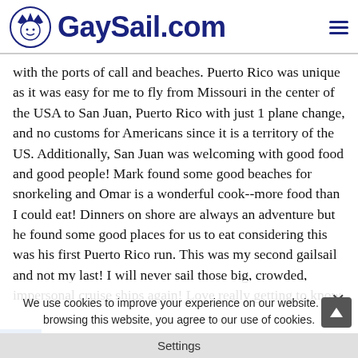GaySail.com
with the ports of call and beaches. Puerto Rico was unique as it was easy for me to fly from Missouri in the center of the USA to San Juan, Puerto Rico with just 1 plane change, and no customs for Americans since it is a territory of the US. Additionally, San Juan was welcoming with good food and good people! Mark found some good beaches for snorkeling and Omar is a wonderful cook--more food than I could eat! Dinners on shore are always an adventure but he found some good places for us to eat considering this was his first Puerto Rico run. This was my second gailsail and not my last! I will never sail those big, crowded, impersonal cruise ships again! Love really getting to know everyone on board the gaysail as more than just a person you have meals with. Mark even teaches you how to sail if you want! For someone who is prone to motion sickness I was fine with preparation. Mark always watched out for my safety considering I am not very coordinated! Looking forward to my next gaysail! Where will it be?? He gives me so many choices, its hard to decide!
We use cookies to improve your experience on our website. By browsing this website, you agree to our use of cookies.
Ok!
Settings